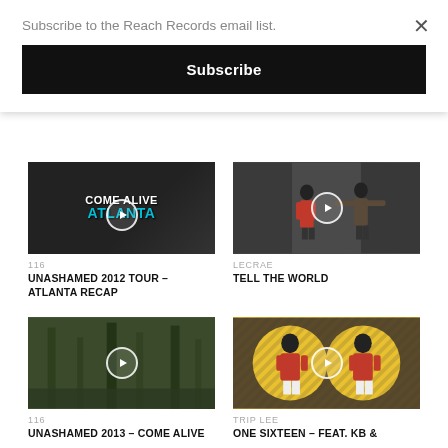Subscribe to the Reach Records email list.
Subscribe
[Figure (screenshot): Video thumbnail for UNASHAMED 2012 TOUR – ATLANTA RECAP showing 'COME ALIVE ATLANTA' text overlay with play button]
116
UNASHAMED 2012 TOUR – ATLANTA RECAP
[Figure (screenshot): Video thumbnail for TELL THE WORLD showing two people standing in front of graffiti wall with play button]
LECRAE
TELL THE WORLD
[Figure (screenshot): Video thumbnail for UNASHAMED 2013 – COME ALIVE showing nature/trees scene with play button]
116
UNASHAMED 2013 – COME ALIVE
[Figure (screenshot): Video thumbnail for ONE SIXTEEN – FEAT. KB & showing two people in red jackets against yellow circles with play button]
TRIP LEE
ONE SIXTEEN – FEAT. KB &